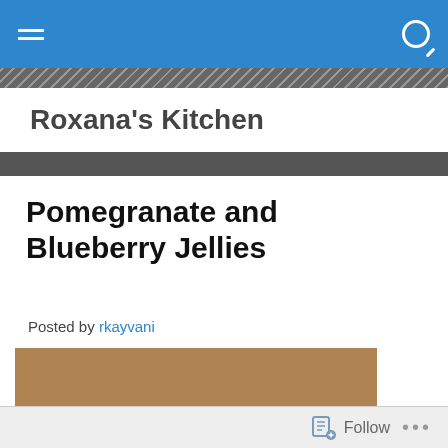Roxana's Kitchen — navigation bar
Roxana's Kitchen
Pomegranate and Blueberry Jellies
Posted by rkayvani
[Figure (photo): Dark pomegranate and blueberry jellies dusted with sugar on a white surface, warm sepia-toned photography]
Follow  •••